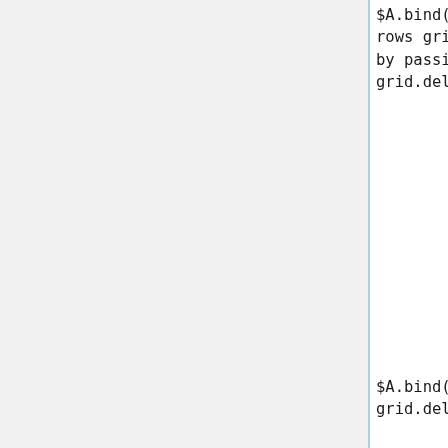$A.bind('#bd', 'click', function(ev){ // Delete all currently selected rows grid.deleteRows(); // Alternatively, specific rows can be deleted by passing an array of row IDs like so // grid.deleteRows(rowIdsArray); ev.preventDefault(); });
$A.bind('#bda', 'click', function(ev){ // Delete all rows in the grid grid.deleteAllRows(); ev.preventDefault(); });
$A.bind('#bc', 'click', function(ev){ // Close the grid grid.close(); 'Grid Closed'.announce(); ev.preventDefault(); });
$A.bind('#bo', 'click', function(ev){ // Open the grid grid.open(); 'Grid Open'.announce(); ev.preventDefault(); });